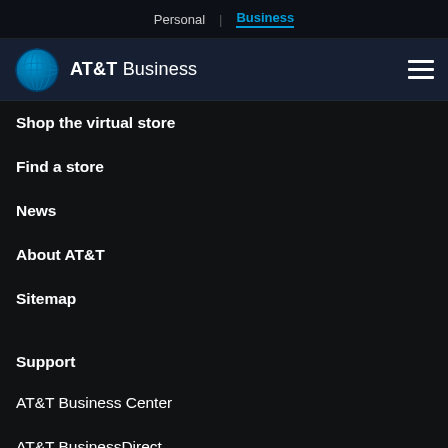Personal | Business
[Figure (logo): AT&T Business logo with globe icon and hamburger menu icon]
Shop the virtual store
Find a store
News
About AT&T
Sitemap
Support
AT&T Business Center
AT&T BusinessDirect
Premier
Tools